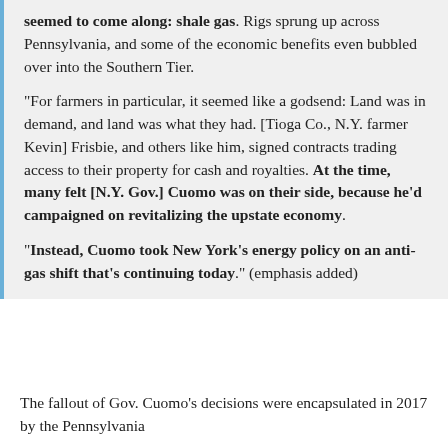seemed to come along: shale gas. Rigs sprung up across Pennsylvania, and some of the economic benefits even bubbled over into the Southern Tier.
"For farmers in particular, it seemed like a godsend: Land was in demand, and land was what they had. [Tioga Co., N.Y. farmer Kevin] Frisbie, and others like him, signed contracts trading access to their property for cash and royalties. At the time, many felt [N.Y. Gov.] Cuomo was on their side, because he'd campaigned on revitalizing the upstate economy. "Instead, Cuomo took New York's energy policy on an anti-gas shift that's continuing today." (emphasis added)
The fallout of Gov. Cuomo's decisions were encapsulated in 2017 by the Pennsylvania